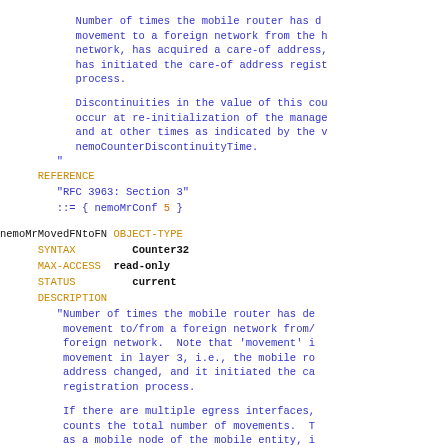Number of times the mobile router has detected movement to a foreign network from the home network, has acquired a care-of address, has initiated the care-of address registration process.
Discontinuities in the value of this counter occur at re-initialization of the management and at other times as indicated by the value nemoCounterDiscontinuityTime.
REFERENCE
"RFC 3963: Section 3"
::= { nemoMrConf 5 }
nemoMrMovedFNtoFN OBJECT-TYPE
SYNTAX    Counter32
MAX-ACCESS    read-only
STATUS    current
DESCRIPTION
"Number of times the mobile router has detected movement to/from a foreign network from/to a foreign network. Note that 'movement' means movement in layer 3, i.e., the mobile router's address changed, and it initiated the care-of address registration process.
If there are multiple egress interfaces, this counts the total number of movements. This as a mobile node of the mobile entity, i.e.